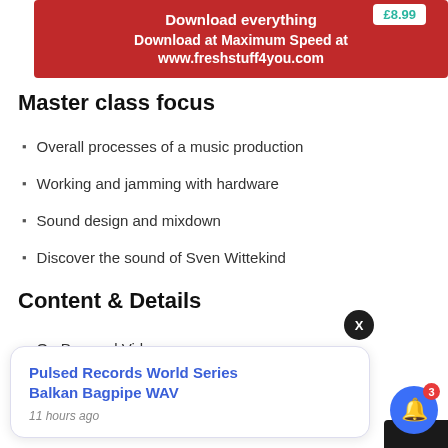[Figure (other): Red promotional banner with white text: Download everything, Download at Maximum Speed at www.freshstuff4you.com, with a price tag showing £8.99]
Master class focus
Overall processes of a music production
Working and jamming with hardware
Sound design and mixdown
Discover the sound of Sven Wittekind
Content & Details
On Demand Videos
3.5 hours running time
[Figure (screenshot): Popup notification card showing 'Pulsed Records World Series Balkan Bagpipe WAV' link, 11 hours ago, with an X close button and a blue bell icon with red badge showing 3]